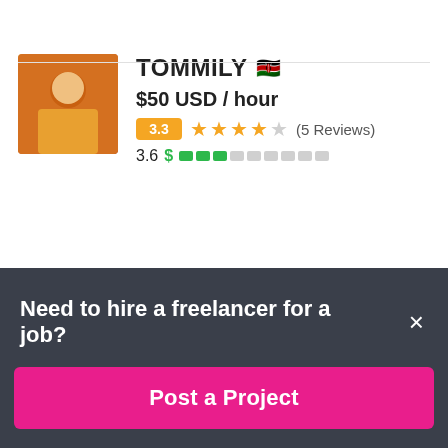TOMMILY 🇰🇪
$50 USD / hour
3.3 ★★★★☆ (5 Reviews)
3.6 $ ▉▉▉░░░░░░░
vladimirrudic 🇷🇸
Need to hire a freelancer for a job?
Post a Project